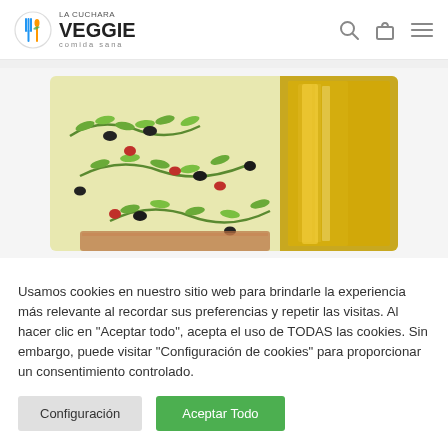LA CUCHARA VEGGIE comida sana
[Figure (photo): Photo of olive branches with black and red olives on a yellow background, with a glass bottle of olive oil on the right side.]
Usamos cookies en nuestro sitio web para brindarle la experiencia más relevante al recordar sus preferencias y repetir las visitas. Al hacer clic en "Aceptar todo", acepta el uso de TODAS las cookies. Sin embargo, puede visitar "Configuración de cookies" para proporcionar un consentimiento controlado.
Configuración
Aceptar Todo